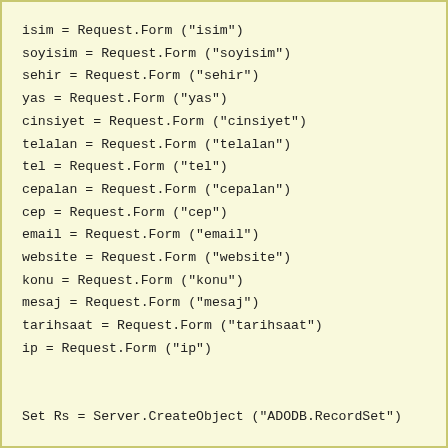isim = Request.Form ("isim")
soyisim = Request.Form ("soyisim")
sehir = Request.Form ("sehir")
yas = Request.Form ("yas")
cinsiyet = Request.Form ("cinsiyet")
telalan = Request.Form ("telalan")
tel = Request.Form ("tel")
cepalan = Request.Form ("cepalan")
cep = Request.Form ("cep")
email = Request.Form ("email")
website = Request.Form ("website")
konu = Request.Form ("konu")
mesaj = Request.Form ("mesaj")
tarihsaat = Request.Form ("tarihsaat")
ip = Request.Form ("ip")


Set Rs = Server.CreateObject ("ADODB.RecordSet")